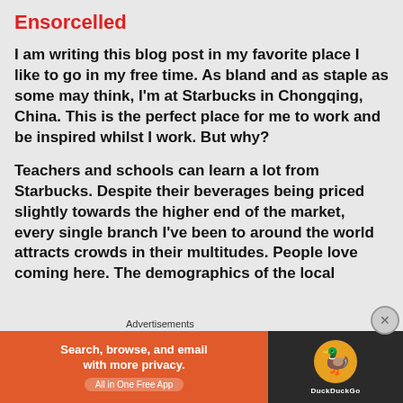Ensorcelled
I am writing this blog post in my favorite place I like to go in my free time. As bland and as staple as some may think, I'm at Starbucks in Chongqing, China. This is the perfect place for me to work and be inspired whilst I work. But why?
Teachers and schools can learn a lot from Starbucks. Despite their beverages being priced slightly towards the higher end of the market, every single branch I've been to around the world attracts crowds in their multitudes. People love coming here. The demographics of the local
Advertisements
[Figure (other): DuckDuckGo advertisement banner: orange left panel with text 'Search, browse, and email with more privacy. All in One Free App' and dark right panel with DuckDuckGo duck logo]